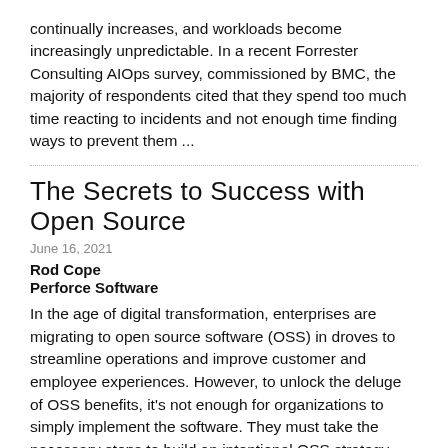continually increases, and workloads become increasingly unpredictable. In a recent Forrester Consulting AIOps survey, commissioned by BMC, the majority of respondents cited that they spend too much time reacting to incidents and not enough time finding ways to prevent them ...
The Secrets to Success with Open Source
June 16, 2021
Rod Cope
Perforce Software
In the age of digital transformation, enterprises are migrating to open source software (OSS) in droves to streamline operations and improve customer and employee experiences. However, to unlock the deluge of OSS benefits, it's not enough for organizations to simply implement the software. They must take the necessary steps to build an intentional OSS strategy rooted in ongoing third-party support and training ...